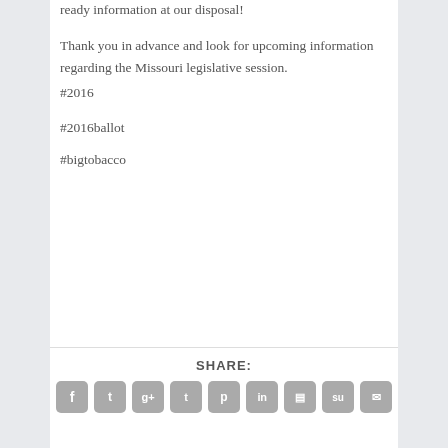ready information at our disposal!
Thank you in advance and look for upcoming information regarding the Missouri legislative session.
#2016
#2016ballot
#bigtobacco
SHARE: